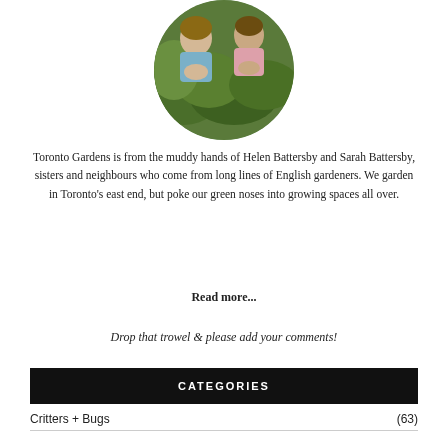[Figure (photo): Circular cropped photo of two women (Helen and Sarah Battersby) with green garden foliage in the background]
Toronto Gardens is from the muddy hands of Helen Battersby and Sarah Battersby, sisters and neighbours who come from long lines of English gardeners. We garden in Toronto's east end, but poke our green noses into growing spaces all over.
Read more...
Drop that trowel & please add your comments!
CATEGORIES
Critters + Bugs (63)
Events + Tours (124)